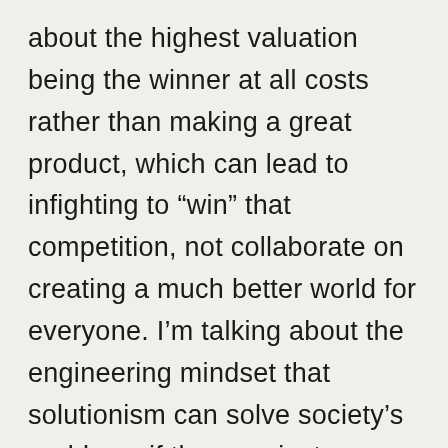about the highest valuation being the winner at all costs rather than making a great product, which can lead to infighting to “win” that competition, not collaborate on creating a much better world for everyone. I’m talking about the engineering mindset that solutionism can solve society’s problems if they are just aware of them, without any critical eyes to assess whether the solution is effective or even desirable. I’m talking about the deficit of faith in our innate creativity that makes us think we can’t do it on our own, that we need to be saved from ourselves by the same heroes who